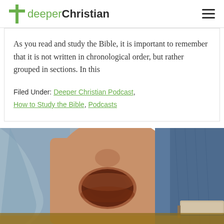deeperChristian
As you read and study the Bible, it is important to remember that it is not written in chronological order, but rather grouped in sections. In this
Filed Under: Deeper Christian Podcast, How to Study the Bible, Podcasts
[Figure (photo): Close-up photo of a person with open mouth, wearing light blue and denim clothing, appearing to be singing or speaking loudly]